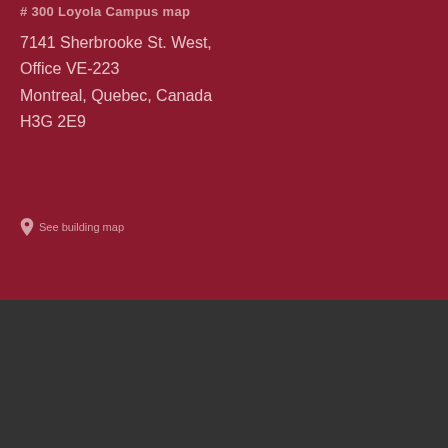# 300 Loyola Campus map
7141 Sherbrooke St. West, Office VE-223 Montreal, Quebec, Canada H3G 2E9
See building map
Concordia University uses technical, analytical, marketing and preference cookies. These are necessary for our site to function properly and to create the best possible online experience.
ACCEPT
Privacy policy